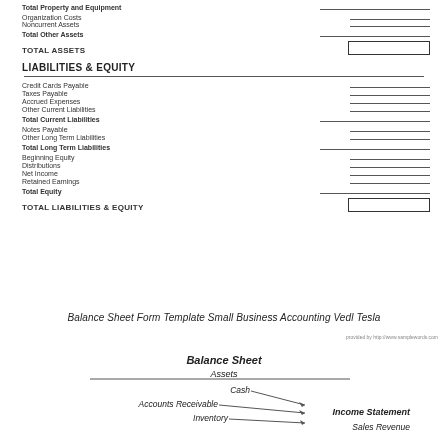Total Property and Equipment
Organization Costs
Noncurrent Assets
Total Other Assets
TOTAL ASSETS
LIABILITIES & EQUITY
Credit Cards Payable
Taxes Payable
Accrued Expenses
Other Current Liabilities
Total Current Liabilities
Notes Payable
Other Long Term Liabilities
Total Long Term Liabilities
Beginning Equity
Distributions
Net Income
Retained Earnings
Total Equity
TOTAL LIABILITIES & EQUITY
provided by http://www.samplewords.com
Balance Sheet Form Template Small Business Accounting Vedl Tesla
[Figure (schematic): Balance Sheet diagram showing Assets side with Cash, Accounts Receivable, Inventory arrows and Income Statement with Sales Revenue label]